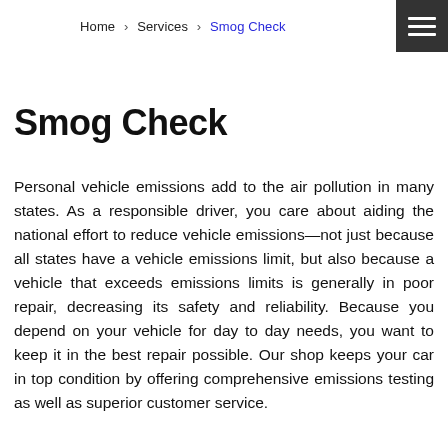Home > Services > Smog Check
Smog Check
Personal vehicle emissions add to the air pollution in many states. As a responsible driver, you care about aiding the national effort to reduce vehicle emissions—not just because all states have a vehicle emissions limit, but also because a vehicle that exceeds emissions limits is generally in poor repair, decreasing its safety and reliability. Because you depend on your vehicle for day to day needs, you want to keep it in the best repair possible. Our shop keeps your car in top condition by offering comprehensive emissions testing as well as superior customer service.